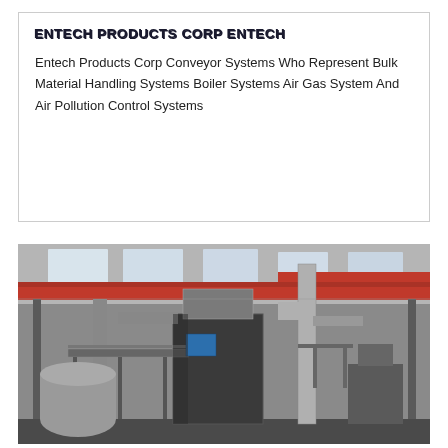ENTECH PRODUCTS CORP ENTECH
Entech Products Corp Conveyor Systems Who Represent Bulk Material Handling Systems Boiler Systems Air Gas System And Air Pollution Control Systems
[Figure (photo): Industrial facility interior showing heavy machinery, conveyors, ductwork, pipes, metal walkways, and overhead red crane beams in a large manufacturing plant]